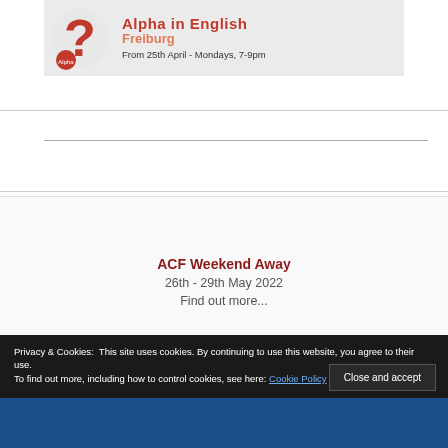[Figure (illustration): Alpha in English Freiburg banner with red question mark logo and text 'Alpha in English Freiburg, From 25th April - Mondays, 7-9pm' on grey background]
ACF Weekend Away
26th - 29th May 2022
Find out more...
Privacy & Cookies: This site uses cookies. By continuing to use this website, you agree to their use.
To find out more, including how to control cookies, see here: Cookie Policy
Close and accept